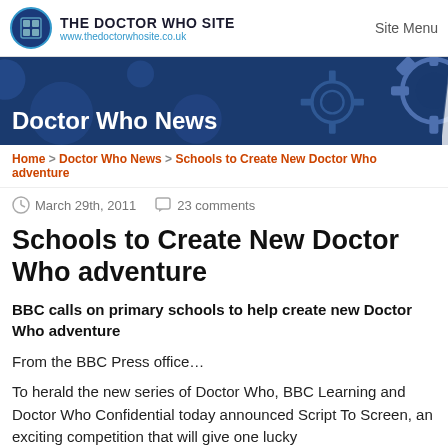THE DOCTOR WHO SITE www.thedoctorwhosite.co.uk | Site Menu
[Figure (illustration): Doctor Who Site banner with blue background, gear/cog shapes, and 'Doctor Who News' title in white text]
Home > Doctor Who News > Schools to Create New Doctor Who adventure
March 29th, 2011   23 comments
Schools to Create New Doctor Who adventure
BBC calls on primary schools to help create new Doctor Who adventure
From the BBC Press office…
To herald the new series of Doctor Who, BBC Learning and Doctor Who Confidential today announced Script To Screen, an exciting competition that will give one lucky